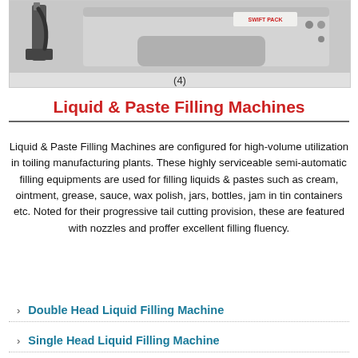[Figure (photo): Photo of a Swift Pack liquid/paste filling machine, showing mechanical components including a nozzle/arm on the left and a stainless steel base unit on the right with the Swift Pack logo label.]
(4)
Liquid & Paste Filling Machines
Liquid & Paste Filling Machines are configured for high-volume utilization in toiling manufacturing plants. These highly serviceable semi-automatic filling equipments are used for filling liquids & pastes such as cream, ointment, grease, sauce, wax polish, jars, bottles, jam in tin containers etc. Noted for their progressive tail cutting provision, these are featured with nozzles and proffer excellent filling fluency.
Double Head Liquid Filling Machine
Single Head Liquid Filling Machine